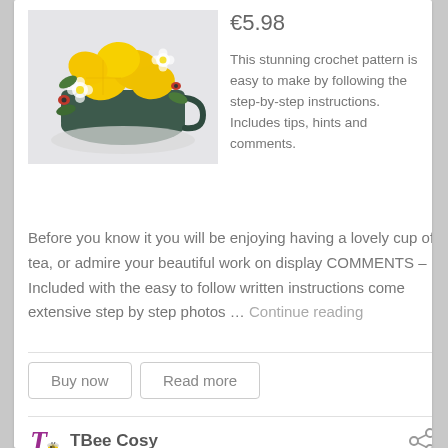[Figure (photo): Crochet teacup with yellow crocheted lemons/flowers arrangement on a grey background]
€5.98
This stunning crochet pattern is easy to make by following the step-by-step instructions. Includes tips, hints and comments.  Before you know it you will be enjoying having a lovely cup of tea, or admire your beautiful work on display COMMENTS – Included with the easy to follow written instructions come extensive step by step photos … Continue reading
Buy now
Read more
TBee Cosy